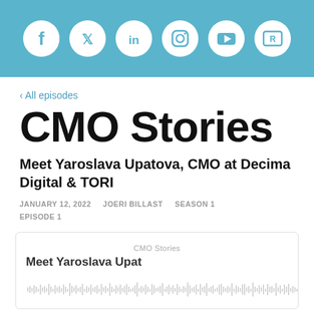[Figure (illustration): Light blue header bar with six white social media icons: Facebook, Twitter, LinkedIn, Instagram, YouTube, and a sixth platform icon]
‹ All episodes
CMO Stories
Meet Yaroslava Upatova, CMO at Decima Digital & TORI
JANUARY 12, 2022    JOERI BILLAST    SEASON 1 EPISODE 1
[Figure (screenshot): Podcast player widget showing CMO Stories label and Meet Yaroslava Upat... episode title with audio waveform at bottom]